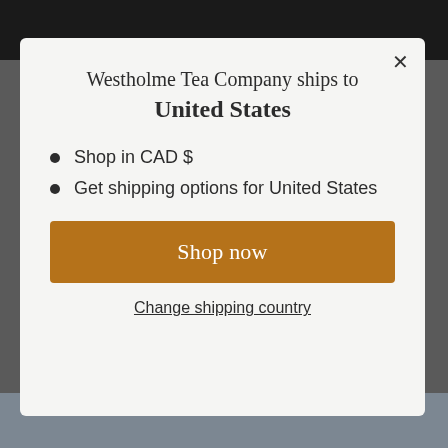Westholme Tea Company ships to United States
Shop in CAD $
Get shipping options for United States
Shop now
Change shipping country